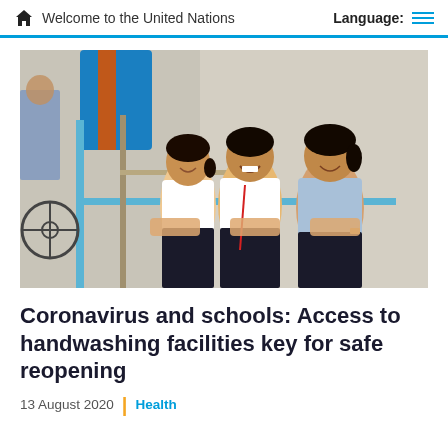Welcome to the United Nations | Language:
[Figure (photo): Three young girls smiling and washing hands at an outdoor pipe water station, with bicycles and a large blue water barrel visible in the background. The girls are wearing school uniforms — white shirts and dark skirts.]
Coronavirus and schools: Access to handwashing facilities key for safe reopening
13 August 2020 | Health